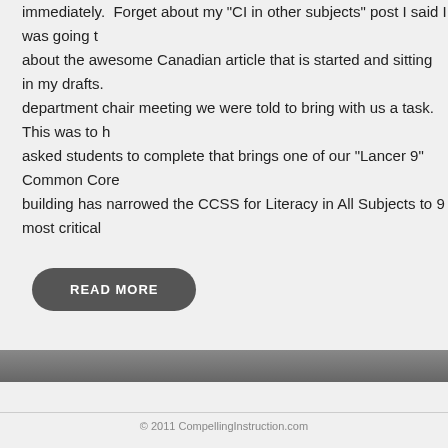immediately.  Forget about my "CI in other subjects" post I said I was going to write about the awesome Canadian article that is started and sitting in my drafts.  At our last department chair meeting we were told to bring with us a task.  This was to have already asked students to complete that brings one of our "Lancer 9" Common Core building has narrowed the CCSS for Literacy in All Subjects to 9 most critical
READ MORE
© 2011 CompellingInstruction.com